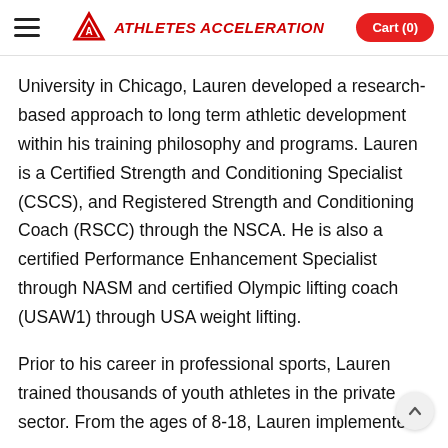Athletes Acceleration — Cart (0)
University in Chicago, Lauren developed a research-based approach to long term athletic development within his training philosophy and programs. Lauren is a Certified Strength and Conditioning Specialist (CSCS), and Registered Strength and Conditioning Coach (RSCC) through the NSCA. He is also a certified Performance Enhancement Specialist through NASM and certified Olympic lifting coach (USAW1) through USA weight lifting.
Prior to his career in professional sports, Lauren trained thousands of youth athletes in the private sector. From the ages of 8-18, Lauren implemented